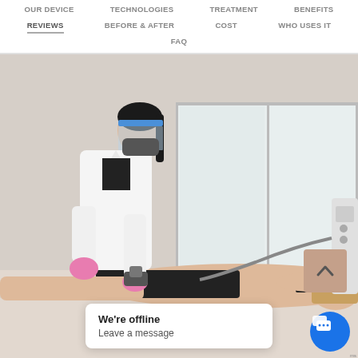OUR DEVICE | TECHNOLOGIES | TREATMENT | BENEFITS | REVIEWS | BEFORE & AFTER | COST | WHO USES IT | FAQ
[Figure (photo): Medical professional in white coat, face shield, mask and pink gloves applying a cryolipolysis or body contouring device to a woman lying face down on a treatment table. A window is visible in the background. A medical device unit is visible on the right side.]
We're offline
Leave a message